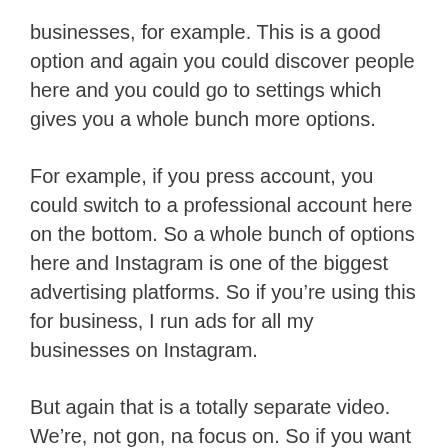businesses, for example. This is a good option and again you could discover people here and you could go to settings which gives you a whole bunch more options.
For example, if you press account, you could switch to a professional account here on the bottom. So a whole bunch of options here and Instagram is one of the biggest advertising platforms. So if you’re using this for business, I run ads for all my businesses on Instagram.
But again that is a totally separate video. We’re, not gon, na focus on. So if you want to learn more about that, make sure you check out the link in the description, if you want to learn how the rekt messages work watch the video on direct messages, if you want to see how IG TV works, that’s, The icon, on top that takes you to this platform again watch a separate video for that, and your Instagram